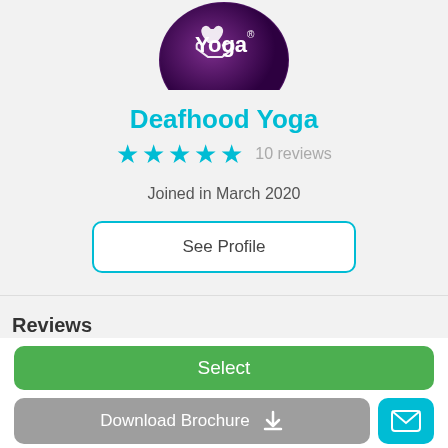[Figure (logo): Deafhood Yoga purple circular logo with a hand and 'Yoga' text]
Deafhood Yoga
★★★★★  10 reviews
Joined in March 2020
See Profile
Reviews
Select
Download Brochure
[Figure (illustration): Mail envelope icon button]